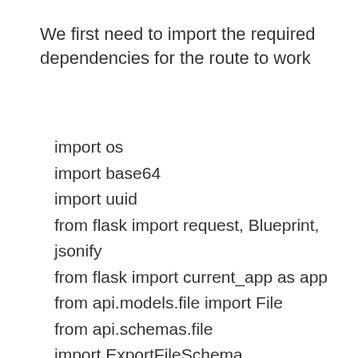We first need to import the required dependencies for the route to work